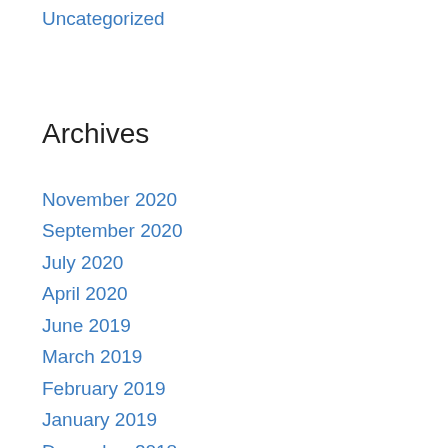Uncategorized
Archives
November 2020
September 2020
July 2020
April 2020
June 2019
March 2019
February 2019
January 2019
December 2018